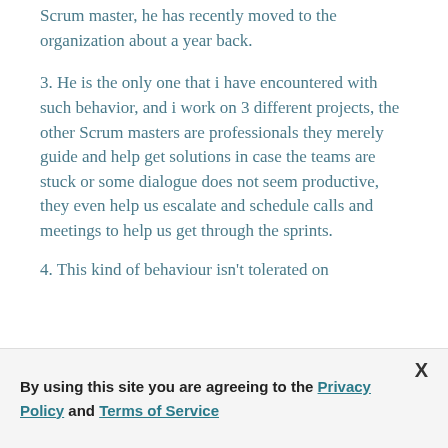Scrum master, he has recently moved to the organization about a year back.
3. He is the only one that i have encountered with such behavior, and i work on 3 different projects, the other Scrum masters are professionals they merely guide and help get solutions in case the teams are stuck or some dialogue does not seem productive, they even help us escalate and schedule calls and meetings to help us get through the sprints.
4. This kind of behaviour isn't tolerated on
By using this site you are agreeing to the Privacy Policy and Terms of Service